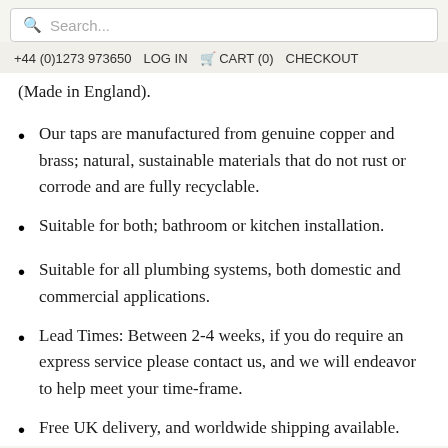Search...
+44 (0)1273 973650   LOG IN   CART (0)   CHECKOUT
(Made in England).
Our taps are manufactured from genuine copper and brass; natural, sustainable materials that do not rust or corrode and are fully recyclable.
Suitable for both; bathroom or kitchen installation.
Suitable for all plumbing systems, both domestic and commercial applications.
Lead Times: Between 2-4 weeks, if you do require an express service please contact us, and we will endeavor to help meet your time-frame.
Free UK delivery, and worldwide shipping available.